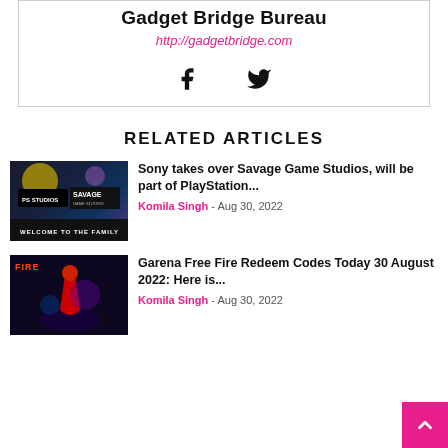Gadget Bridge Bureau
http://gadgetbridge.com
[Figure (other): Facebook and Twitter social icons]
RELATED ARTICLES
[Figure (photo): Sony Savage Game Studios - Welcome to the Family promotional image with PlayStation logo]
Sony takes over Savage Game Studios, will be part of PlayStation...
Komila Singh - Aug 30, 2022
[Figure (photo): Garena Free Fire game artwork with character in red costume]
Garena Free Fire Redeem Codes Today 30 August 2022: Here is...
Komila Singh - Aug 30, 2022